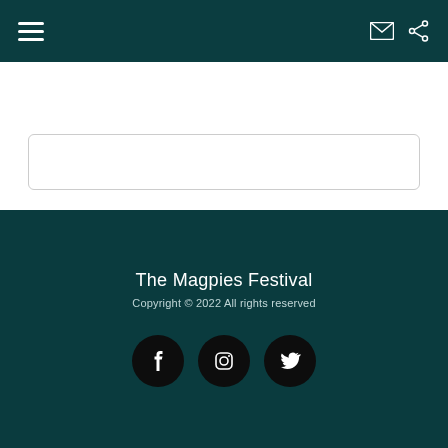Navigation bar with hamburger menu, email icon, and share icon
[Figure (screenshot): White content area with a rounded search/input box outline]
The Magpies Festival
Copyright © 2022 All rights reserved
[Figure (illustration): Three circular social media icons: Facebook, Instagram, Twitter on dark teal background]